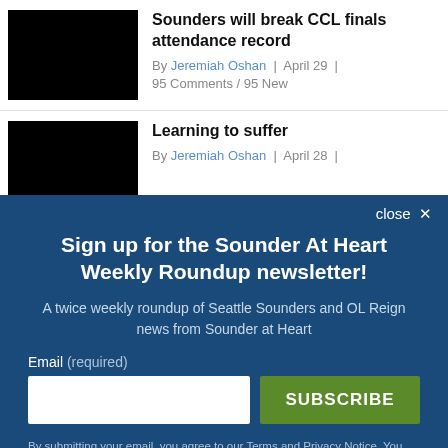[Figure (photo): Black thumbnail image for article 1]
Sounders will break CCL finals attendance record
By Jeremiah Oshan | April 29 | 95 Comments / 95 New
[Figure (photo): Black thumbnail image for article 2]
Learning to suffer
By Jeremiah Oshan | April 28 |
close ✕
Sign up for the Sounder At Heart Weekly Roundup newsletter!
A twice weekly roundup of Seattle Sounders and OL Reign news from Sounder at Heart
Email (required)
SUBSCRIBE
By submitting your email, you agree to our Terms and Privacy Notice. You can opt out at any time. This site is protected by reCAPTCHA and the Google Privacy Policy and Terms of Service apply.